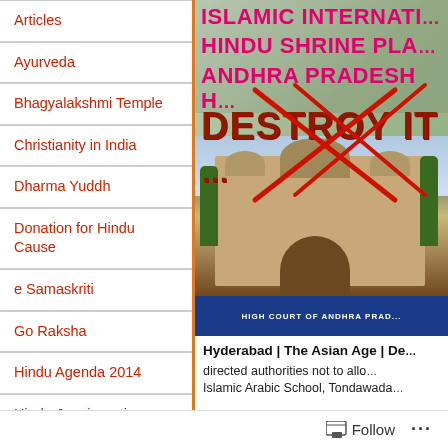Articles
Ayurveda
Bhagyalakshmi Temple
Christianity in India
Dharma Yuddh
Donation for Hindu Cause
e Samaskriti
Go Raksha
Hindu Agenda 2014
Hindu Janajagruti
Hindu News
[Figure (photo): Image with text overlays 'ISLAMIC INTERNATI...', 'HINDU SHRINE PLA...', 'ANDHRA PRADESH H...', 'DESTROY IT' in bold letters with red cross marks, and a photo of what appears to be the High Court of Andhra Pradesh building styled to look like a mosque.]
Hyderabad | The Asian Age | De... directed authorities not to allow... Islamic Arabic School, Tondawada...
Follow ...